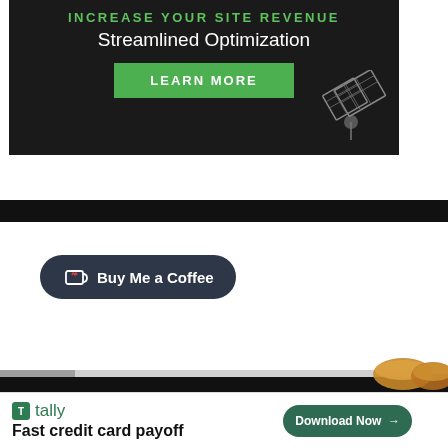[Figure (screenshot): Dark advertisement banner with green text 'INCREASE YOUR SITE REVENUE', white text 'Streamlined Optimization', green 'LEARN MORE' button, and a solar panel graphic in bottom-right corner]
[Figure (screenshot): Dark navigation/toolbar bar]
[Figure (screenshot): 'Buy Me a Coffee' dark pill-shaped button with coffee cup icon and heart]
[Figure (screenshot): Dark toolbar bar]
[Figure (screenshot): Tally advertisement: green Tally logo, 'Fast credit card payoff' text, and 'Download Now' button with arrow, plus food images and close/help icons]